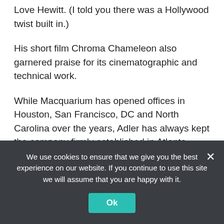Love Hewitt. (I told you there was a Hollywood twist built in.)
His short film Chroma Chameleon also garnered praise for its cinematographic and technical work.
While Macquarium has opened offices in Houston, San Francisco, DC and North Carolina over the years, Adler has always kept the company firmly established in Atlanta.
“You want a center of excellence where you can bring the most people together in the same area,” he told
We use cookies to ensure that we give you the best experience on our website. If you continue to use this site we will assume that you are happy with it.